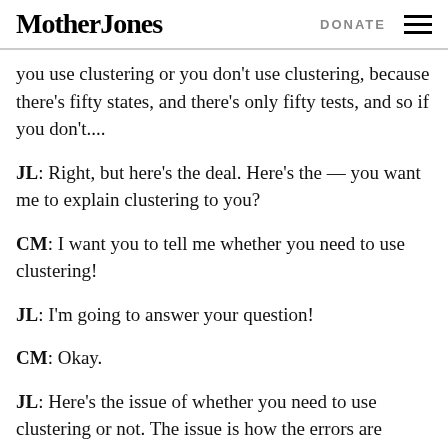Mother Jones   DONATE
you use clustering or you don't use clustering, because there's fifty states, and there's only fifty tests, and so if you don't....
JL: Right, but here's the deal. Here's the — you want me to explain clustering to you?
CM: I want you to tell me whether you need to use clustering!
JL: I'm going to answer your question!
CM: Okay.
JL: Here's the issue of whether you need to use clustering or not. The issue is how the errors are